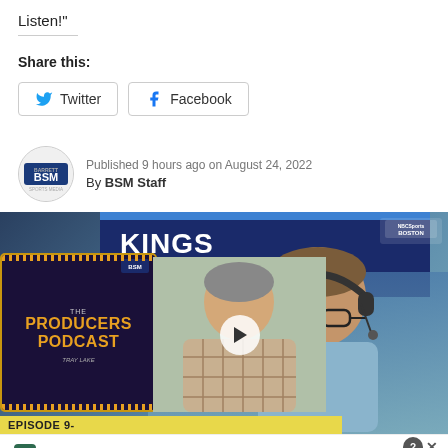Listen!"
Share this:
[Figure (other): Twitter share button]
[Figure (other): Facebook share button]
Published 9 hours ago on August 24, 2022
By BSM Staff
[Figure (photo): Photo of a man wearing headphones in front of a Kings Sportsbook banner; overlaid with The Producers Podcast thumbnail and a person thumbnail with play button. Bottom label reads EPISODE 9-.]
[Figure (infographic): Tally advertisement banner: Fast credit card payoff, Download Now button]